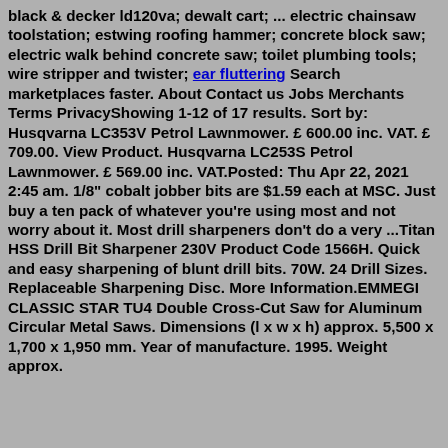black & decker ld120va; dewalt cart; ... electric chainsaw toolstation; estwing roofing hammer; concrete block saw; electric walk behind concrete saw; toilet plumbing tools; wire stripper and twister; ear fluttering Search marketplaces faster. About Contact us Jobs Merchants Terms PrivacyShowing 1-12 of 17 results. Sort by: Husqvarna LC353V Petrol Lawnmower. £ 600.00 inc. VAT. £ 709.00. View Product. Husqvarna LC253S Petrol Lawnmower. £ 569.00 inc. VAT.Posted: Thu Apr 22, 2021 2:45 am. 1/8" cobalt jobber bits are $1.59 each at MSC. Just buy a ten pack of whatever you're using most and not worry about it. Most drill sharpeners don't do a very ...Titan HSS Drill Bit Sharpener 230V Product Code 1566H. Quick and easy sharpening of blunt drill bits. 70W. 24 Drill Sizes. Replaceable Sharpening Disc. More Information.EMMEGI CLASSIC STAR TU4 Double Cross-Cut Saw for Aluminum Circular Metal Saws. Dimensions (l x w x h) approx. 5,500 x 1,700 x 1,950 mm. Year of manufacture. 1995. Weight approx.